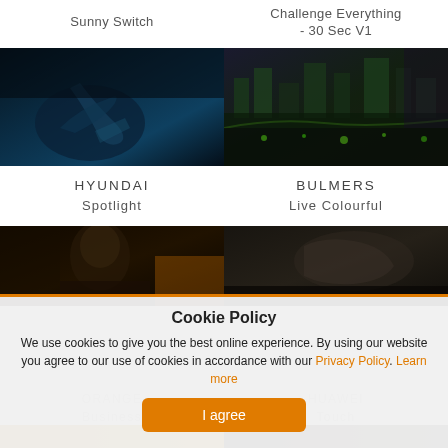Sunny Switch
Challenge Everything - 30 Sec V1
[Figure (photo): Dark blue-toned image of a dancer bending dramatically]
[Figure (photo): Aerial night cityscape with green and purple lights]
HYUNDAI Spotlight
BULMERS Live Colourful
[Figure (photo): Dark portrait of a person, possibly an advertisement]
[Figure (photo): Close-up of a hand in a dark setting]
Cookie Policy
We use cookies to give you the best online experience. By using our website you agree to our use of cookies in accordance with our Privacy Policy. Learn more
ORANGE Business
HUAWEI Touch